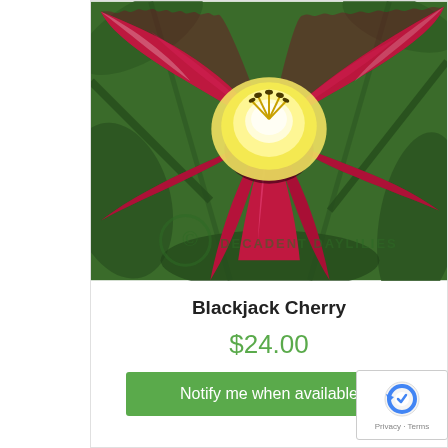[Figure (photo): Close-up photograph of a Blackjack Cherry daylily flower with deep crimson-red petals, bright yellow-green center throat, dark purple eye zone, and green foliage in the background. A watermark reading 'DECADENT DAYLILIES' with a copyright symbol is visible at the bottom of the image.]
Blackjack Cherry
$24.00
Notify me when available